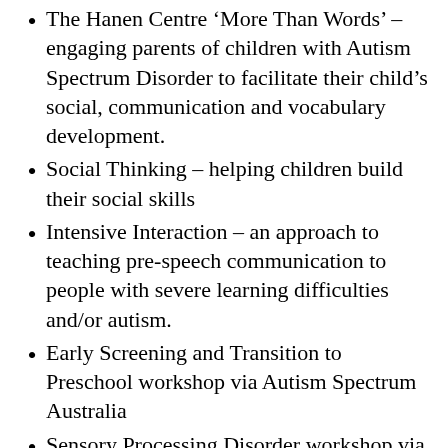The Hanen Centre 'More Than Words' – engaging parents of children with Autism Spectrum Disorder to facilitate their child's social, communication and vocabulary development.
Social Thinking – helping children build their social skills
Intensive Interaction – an approach to teaching pre-speech communication to people with severe learning difficulties and/or autism.
Early Screening and Transition to Preschool workshop via Autism Spectrum Australia
Sensory Processing Disorder workshop via Child Sense Occupational Therapy